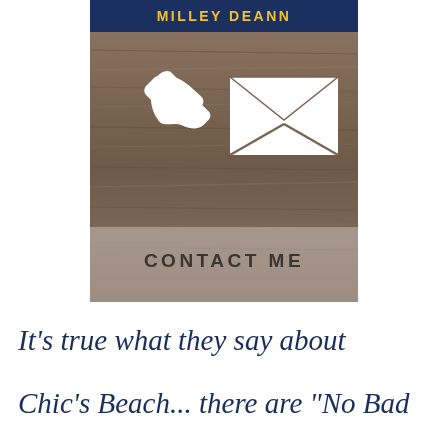[Figure (illustration): Partial banner with yellow text 'MILLEY DEANN' on navy blue background at top, above a wooden board background with white phone and envelope icons, and 'CONTACT ME' text in bold uppercase]
It's true what they say about Chic's Beach... there are "No Bad